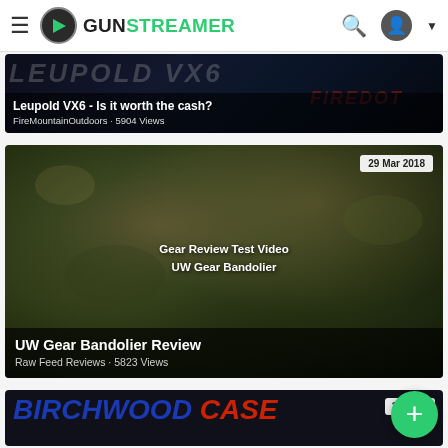GUN STREAMER
[Figure (screenshot): Video thumbnail for 'Leupold VX6 - Is it worth the cash?' with dark blue background and faded LEUPOLD VX6 text]
Leupold VX6 - Is it worth the cash?
FireMountainOutdoors · 5904 Views
[Figure (screenshot): Video thumbnail showing camouflage/rocky terrain background with centered text 'Gear Review Test Video UW Gear Bandolier' and date badge '29 Mar 2018']
UW Gear Bandolier Review
Raw Feed Reviews · 5823 Views
[Figure (screenshot): Partially visible video thumbnail showing BIRCHWOOD CASEY text in blue and red block letters with date badge '29 Ma...']